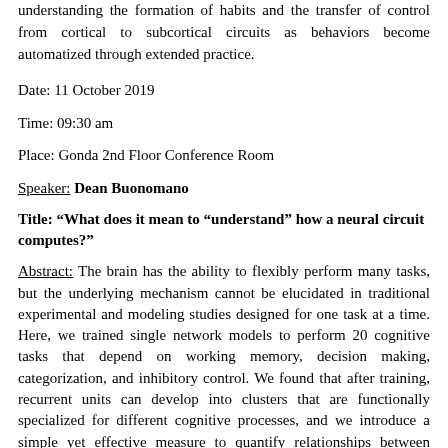understanding the formation of habits and the transfer of control from cortical to subcortical circuits as behaviors become automatized through extended practice.
Date: 11 October 2019
Time: 09:30 am
Place: Gonda 2nd Floor Conference Room
Speaker: Dean Buonomano
Title: “What does it mean to "understand" how a neural circuit computes?”
Abstract: The brain has the ability to flexibly perform many tasks, but the underlying mechanism cannot be elucidated in traditional experimental and modeling studies designed for one task at a time. Here, we trained single network models to perform 20 cognitive tasks that depend on working memory, decision making, categorization, and inhibitory control. We found that after training, recurrent units can develop into clusters that are functionally specialized for different cognitive processes, and we introduce a simple yet effective measure to quantify relationships between single-unit neural representations of tasks. Learning often gives